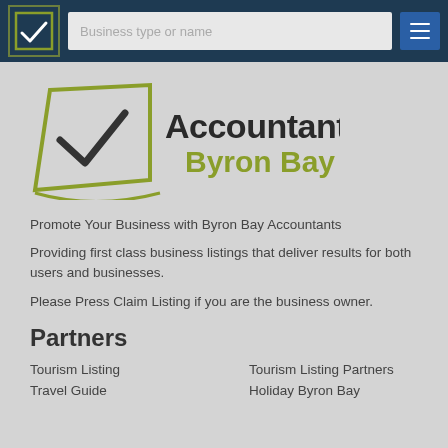[Figure (logo): Accountants Byron Bay logo with green checkmark in green bordered square, bold dark text 'Accountants' and olive/green 'Byron Bay' text with decorative arc underline]
Promote Your Business with Byron Bay Accountants
Providing first class business listings that deliver results for both users and businesses.
Please Press Claim Listing if you are the business owner.
Partners
Tourism Listing
Tourism Listing Partners
Travel Guide
Holiday Byron Bay